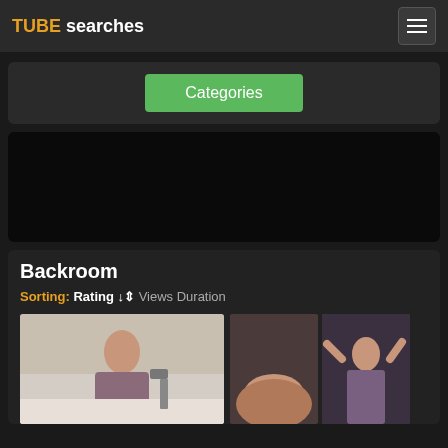TUBE searches
Categories
[Figure (other): Dark advertisement placeholder box]
Backroom
Sorting: Rating ↓= Views Duration
[Figure (photo): Thumbnail image of a young woman standing in a room, smiling, wearing a plaid shirt]
[Figure (photo): Two thumbnail images side by side showing persons]